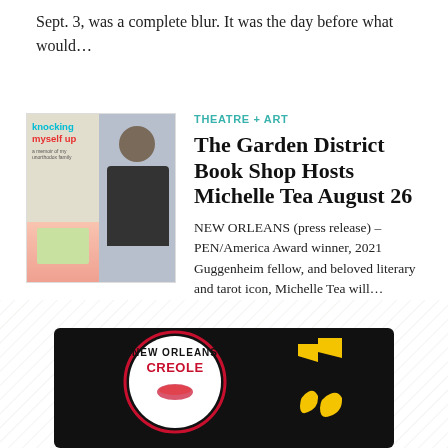Sept. 3, was a complete blur. It was the day before what would…
[Figure (photo): Book cover for 'Knocking Myself Up' alongside a photo of a woman with long hair in dark clothing]
THEATRE + ART
The Garden District Book Shop Hosts Michelle Tea August 26
NEW ORLEANS (press release) – PEN/America Award winner, 2021 Guggenheim fellow, and beloved literary and tarot icon, Michelle Tea will…
[Figure (logo): New Orleans Creole logo with musical notes on black background]